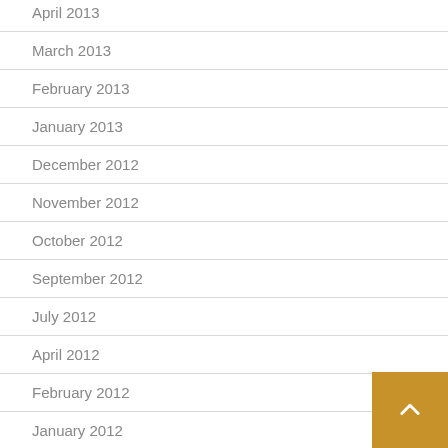April 2013
March 2013
February 2013
January 2013
December 2012
November 2012
October 2012
September 2012
July 2012
April 2012
February 2012
January 2012